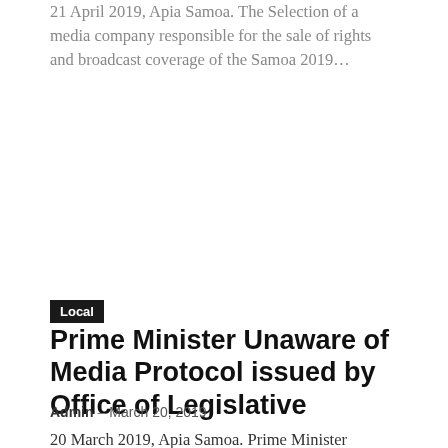21 April 2019, Apia Samoa. The Selection of a media company responsible for the sale of rights and broadcast coverage of the Samoa 2019...
Local
Prime Minister Unaware of Media Protocol issued by Office of Legislative
Admin - March 20, 2019
20 March 2019, Apia Samoa. Prime Minister Tuilaepa Sailele Malielegaoi was unaware of the Media Protocols issued by the Office of the Legislative Assembly...